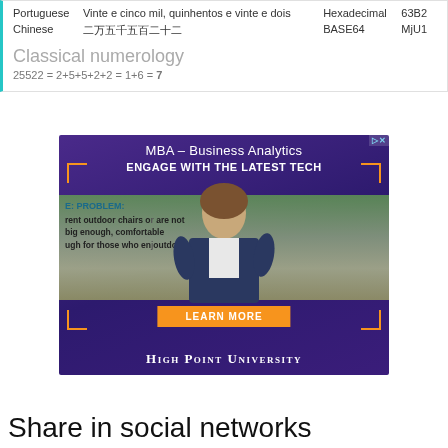|  |  |  |  |
| --- | --- | --- | --- |
| Portuguese | Vinte e cinco mil, quinhentos e vinte e dois | Hexadecimal | 63B2 |
| Chinese | 二万五千五百二十二 | BASE64 | MjU1 |
Classical numerology
[Figure (photo): MBA – Business Analytics advertisement for High Point University showing a presenter in front of a landscape background with text 'ENGAGE WITH THE LATEST TECH' and a 'LEARN MORE' button]
Share in social networks